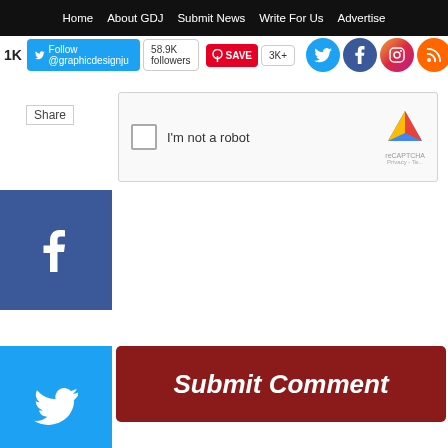Home  About GDJ  Submit News  Write For Us  Advertise
1K  Follow @graphicdesignju  58.9K followers  SAVE  3K+
Share
I'm not a robot
reCAPTCHA
Privacy - Te...
[Figure (screenshot): Blue Facebook share button with Facebook 'f' icon]
Submit Comment
[Figure (screenshot): Light blue Twitter share button with bird icon]
[Figure (screenshot): Dark blue LinkedIn share button with LinkedIn 'in' icon]
[Figure (screenshot): Red Pinterest share button with Pinterest 'P' icon]
us Post
hicStock Is Giving You 7 Days Of
ownloads
18
lar Posts
Subscribe &
Free Vector Social Media Icons Set
25 Colorful Vector Background Graphic Designs
Subscribe R...